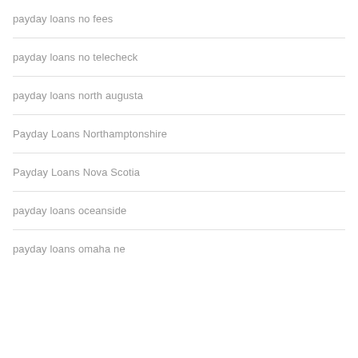payday loans no fees
payday loans no telecheck
payday loans north augusta
Payday Loans Northamptonshire
Payday Loans Nova Scotia
payday loans oceanside
payday loans omaha ne